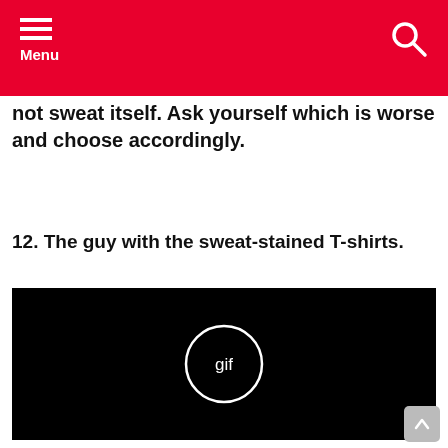Menu
not sweat itself. Ask yourself which is worse and choose accordingly.
12. The guy with the sweat-stained T-shirts.
[Figure (other): Black rectangle with a circular 'gif' button in the center, indicating an animated GIF placeholder.]